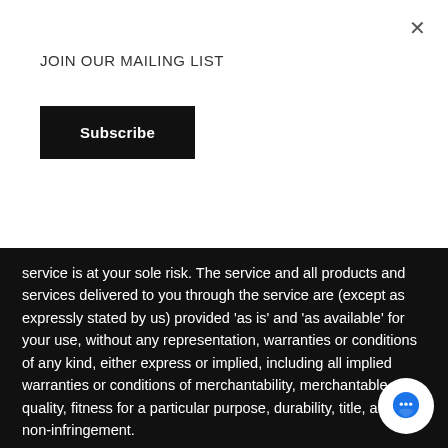JOIN OUR MAILING LIST
Subscribe
service is at your sole risk. The service and all products and services delivered to you through the service are (except as expressly stated by us) provided 'as is' and 'as available' for your use, without any representation, warranties or conditions of any kind, either express or implied, including all implied warranties or conditions of merchantability, merchantable quality, fitness for a particular purpose, durability, title, and non-infringement.
In no case shall Made Equal Clothing Co., our directors, officers, employees, affiliates, agents, contractors, interns, suppliers, service providers or licensors be liable for any injury, loss, claim, or any direct, indirect, incidental, punitive, special, or consequential damages of any kind, including,